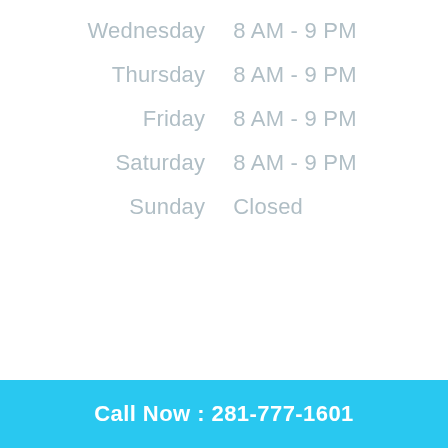Wednesday    8 AM - 9 PM
Thursday    8 AM - 9 PM
Friday    8 AM - 9 PM
Saturday    8 AM - 9 PM
Sunday    Closed
Call Now : 281-777-1601